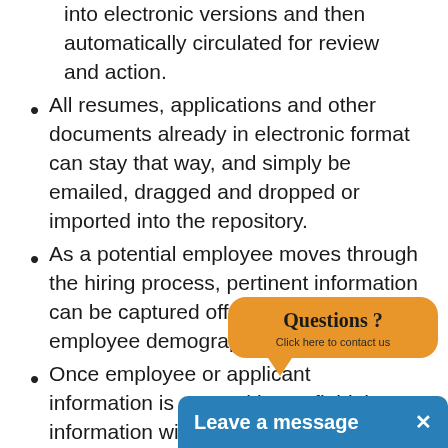into electronic versions and then automatically circulated for review and action.
All resumes, applications and other documents already in electronic format can stay that way, and simply be emailed, dragged and dropped or imported into the repository.
As a potential employee moves through the hiring process, pertinent information can be captured off a web based employee demographic form.
Once employee or applicant information is entered into a field that information will be stored and automatically... future.
Applications automatically... and...final decision...